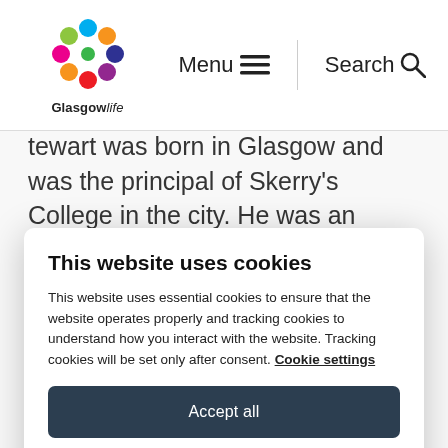GlasgowLife — Menu  Search
tewart was born in Glasgow and was the principal of Skerry's College in the city. He was an admirer of the writing of Robert W. Service and enjoyed several years friendship with the poet from the 1940s
This website uses cookies
This website uses essential cookies to ensure that the website operates properly and tracking cookies to understand how you interact with the website. Tracking cookies will be set only after consent. Cookie settings
Accept all
Reject all
donated the collection to the Mitchell Library in